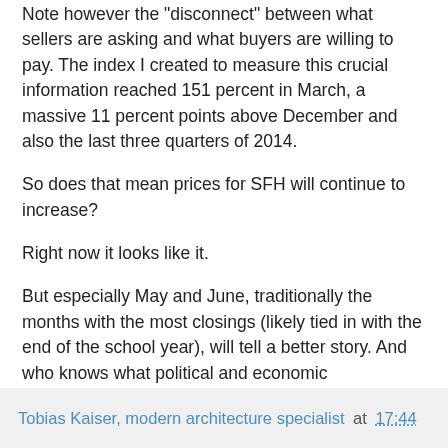Note however the "disconnect" between what sellers are asking and what buyers are willing to pay. The index I created to measure this crucial information reached 151 percent in March, a massive 11 percent points above December and also the last three quarters of 2014.
So does that mean prices for SFH will continue to increase?
Right now it looks like it.
But especially May and June, traditionally the months with the most closings (likely tied in with the end of the school year), will tell a better story. And who knows what political and economic developments summer and autumn will bring?
Leaving you somehow dangling in mid-air without a better forecast, the only thing I can do for now is to wish you a fine weekend!
Tobias Kaiser, modern architecture specialist at 17:44